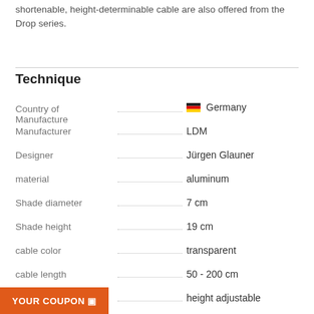shortenable, height-determinable cable are also offered from the Drop series.
Technique
| Property | Value |
| --- | --- |
| Country of Manufacture | Germany |
| Manufacturer | LDM |
| Designer | Jürgen Glauner |
| material | aluminum |
| Shade diameter | 7 cm |
| Shade height | 19 cm |
| cable color | transparent |
| cable length | 50 - 200 cm |
| height adjustment | height adjustable |
|  | at the manufacturer / at the factory |
YOUR COUPON ▣